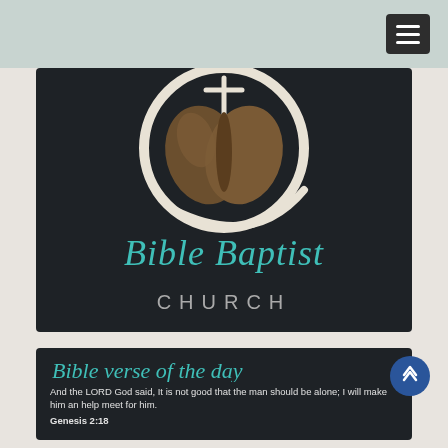Navigation bar with hamburger menu
[Figure (logo): Bible Baptist Church logo: circular emblem with open Bible pages in brown tones, teal cursive text 'Bible Baptist' and light gray spaced caps 'CHURCH' on dark background]
Bible verse of the day
And the LORD God said, It is not good that the man should be alone; I will make him an help meet for him.
Genesis 2:18